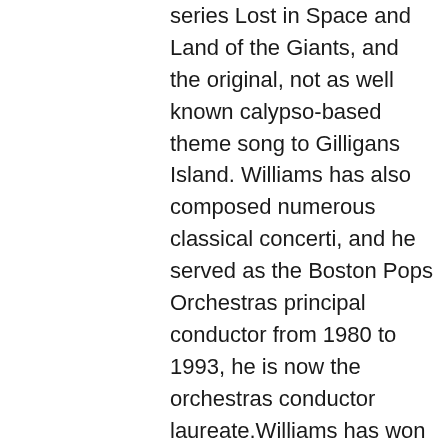series Lost in Space and Land of the Giants, and the original, not as well known calypso-based theme song to Gilligans Island. Williams has also composed numerous classical concerti, and he served as the Boston Pops Orchestras principal conductor from 1980 to 1993, he is now the orchestras conductor laureate.Williams has won five Academy Awards, four Golden Globe Awards, seven British Academy Film Awards and 21 Grammy Awards. With 49 Academy Award nominations, Williams is the second most-nominated person, after Walt Disney. Williams was honored with the annual Richard Kirk award at the 1999 BMI Film and TV Awards, recognizing his contribution to film and television music. Williams was inducted into the Hollywood Bowl Hall of Fame in 2000, and was a recipient of the